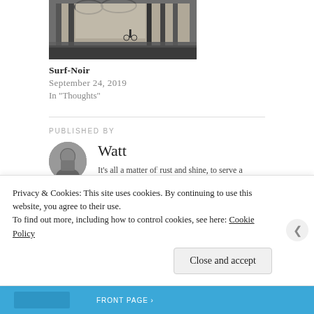[Figure (photo): Black and white photo of an architectural interior with columns and arches, a figure with a bicycle visible in background]
Surf-Noir
September 24, 2019
In "Thoughts"
PUBLISHED BY
[Figure (photo): Small circular avatar portrait of a man in black and white]
Watt
It's all a matter of rust and shine, to serve a distinction between to have and to have not. View all posts by Watt →
Privacy & Cookies: This site uses cookies. By continuing to use this website, you agree to their use.
To find out more, including how to control cookies, see here: Cookie Policy
Close and accept